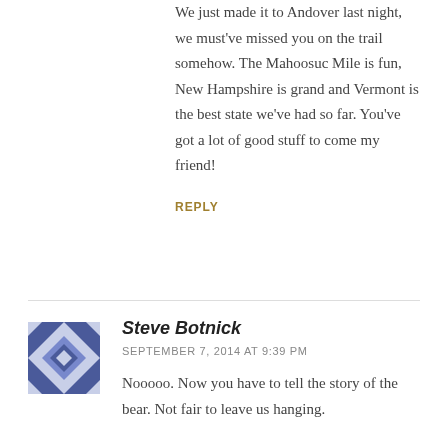We just made it to Andover last night, we must've missed you on the trail somehow. The Mahoosuc Mile is fun, New Hampshire is grand and Vermont is the best state we've had so far. You've got a lot of good stuff to come my friend!
REPLY
[Figure (illustration): Blue and white geometric quilt-pattern avatar icon for Steve Botnick]
Steve Botnick
SEPTEMBER 7, 2014 AT 9:39 PM
Nooooo. Now you have to tell the story of the bear. Not fair to leave us hanging.